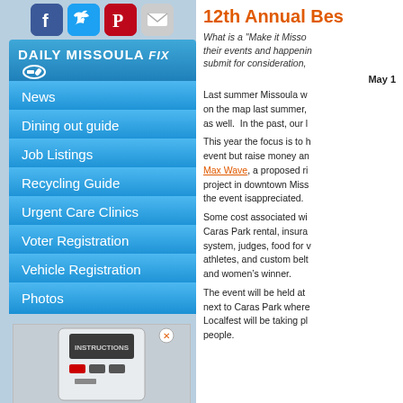[Figure (screenshot): Social media icons: Facebook, Twitter, Pinterest, Email]
DAILY MISSOULA FIX
News
Dining out guide
Job Listings
Recycling Guide
Urgent Care Clinics
Voter Registration
Vehicle Registration
Photos
[Figure (photo): Advertisement showing a parking meter machine with INSTRUCTIONS label]
12th Annual Bes
What is a “Make it Misso… their events and happenin… submit for consideration,…
May 1…
Last summer Missoula w… on the map last summer,… as well. In the past, our l…
This year the focus is to h… event but raise money an… Max Wave, a proposed ri… project in downtown Miss… the event isappreciated.
Some cost associated wi… Caras Park rental, insura… system, judges, food for v… athletes, and custom belt… and women’s winner.
The event will be held at… next to Caras Park where… Localfest will be taking pl… people.